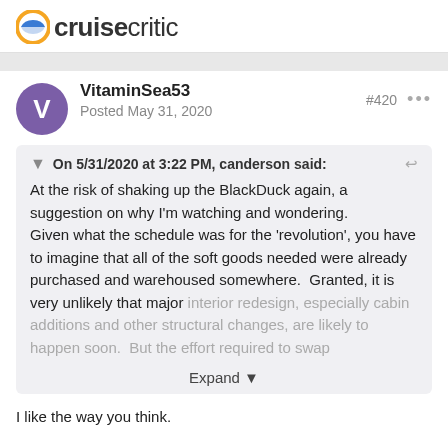cruisecritic
VitaminSea53
Posted May 31, 2020
#420
On 5/31/2020 at 3:22 PM, canderson said:
At the risk of shaking up the BlackDuck again, a suggestion on why I'm watching and wondering.
Given what the schedule was for the 'revolution', you have to imagine that all of the soft goods needed were already purchased and warehoused somewhere. Granted, it is very unlikely that major interior redesign, especially cabin additions and other structural changes, are likely to happen soon. But the effort required to swap
Expand
I like the way you think.